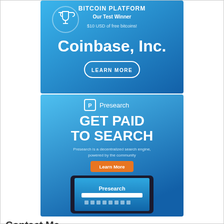[Figure (illustration): Coinbase advertisement banner: blue gradient background with trophy icon, text 'BITCOIN PLATFORM Our Test Winner $10 USD of free bitcoins! Coinbase, Inc.' and a 'LEARN MORE' button]
[Figure (illustration): Presearch advertisement banner: blue gradient background with Presearch logo, text 'GET PAID TO SEARCH', description 'Presearch is a decentralized search engine, powered by the community', orange 'Learn More' button, and tablet device mockup showing Presearch interface]
Contact Me
Send me a written message
OR